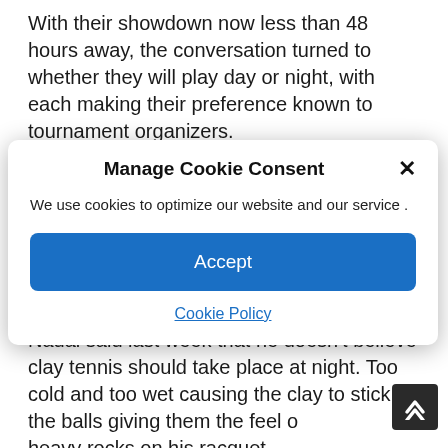With their showdown now less than 48 hours away, the conversation turned to whether they will play day or night, with each making their preference known to tournament organizers.

Nadal prefers to play during the day when the
Manage Cookie Consent
We use cookies to optimize our website and our service .
Accept
Cookie Policy
struggled to hit the ball across the pitch. Nadal said last week that he doesn't believe clay tennis should take place at night. Too cold and too wet causing the clay to stick to the balls giving them the feel of heavy rocks on his racquet.